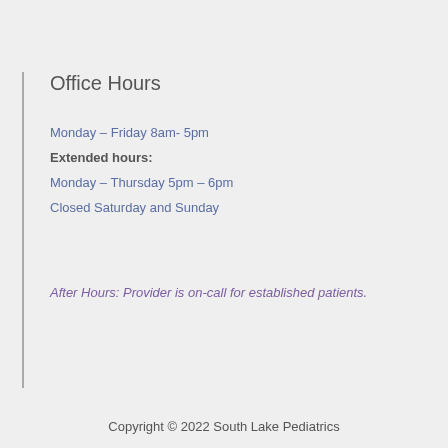Office Hours
Monday – Friday 8am- 5pm
Extended hours:
Monday – Thursday 5pm – 6pm
Closed Saturday and Sunday
After Hours: Provider is on-call for established patients.
Copyright © 2022 South Lake Pediatrics